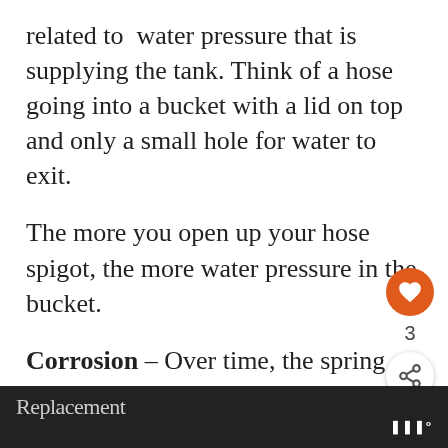related to  water pressure that is supplying the tank. Think of a hose going into a bucket with a lid on top and only a small hole for water to exit.
The more you open up your hose spigot, the more water pressure in the bucket.
Corrosion – Over time, the spring inside the valve mechanism can rust or become embedded with minerals from contact with hard water. Solution: Replacement